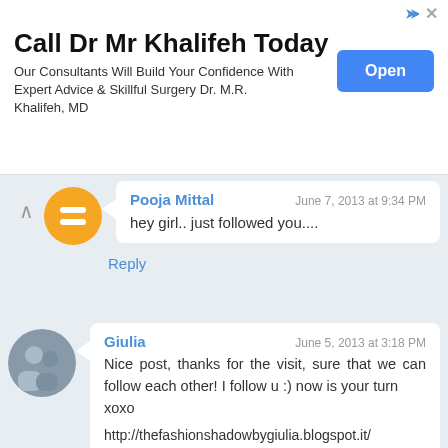[Figure (infographic): Advertisement banner for Dr Mr Khalifeh with a blue Open button]
Call Dr Mr Khalifeh Today
Our Consultants Will Build Your Confidence With Expert Advice & Skillful Surgery Dr. M.R. Khalifeh, MD
Pooja Mittal  June 7, 2013 at 9:34 PM
hey girl.. just followed you....
Reply
Giulia  June 5, 2013 at 3:18 PM
Nice post, thanks for the visit, sure that we can follow each other! I follow u :) now is your turn
xoxo

http://thefashionshadowbygiulia.blogspot.it/
Reply